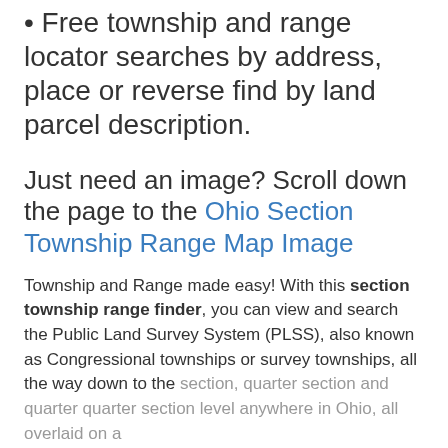Free township and range locator searches by address, place or reverse find by land parcel description.
Just need an image? Scroll down the page to the Ohio Section Township Range Map Image
Township and Range made easy! With this section township range finder, you can view and search the Public Land Survey System (PLSS), also known as Congressional townships or survey townships, all the way down to the section, quarter section and quarter quarter section level anywhere in Ohio, all overlaid on a